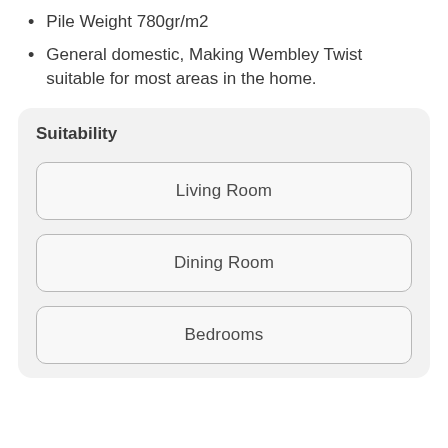Pile Weight 780gr/m2
General domestic, Making Wembley Twist suitable for most areas in the home.
Suitability
Living Room
Dining Room
Bedrooms